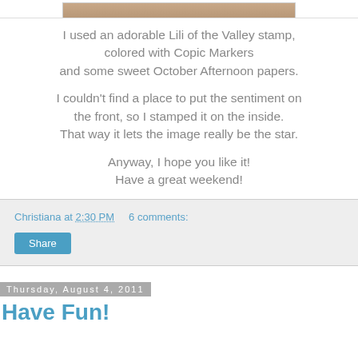[Figure (photo): Top portion of a photo showing brownish/tan colors, partially cropped at the top of the page]
I used an adorable Lili of the Valley stamp, colored with Copic Markers and some sweet October Afternoon papers.

I couldn't find a place to put the sentiment on the front, so I stamped it on the inside. That way it lets the image really be the star.

Anyway, I hope you like it! Have a great weekend!
Christiana at 2:30 PM    6 comments:
Share
Thursday, August 4, 2011
Have Fun!